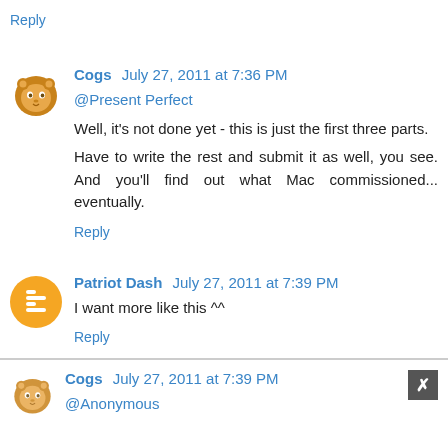Reply
Cogs July 27, 2011 at 7:36 PM
@Present Perfect
Well, it's not done yet - this is just the first three parts.
Have to write the rest and submit it as well, you see. And you'll find out what Mac commissioned... eventually.
Reply
Patriot Dash July 27, 2011 at 7:39 PM
I want more like this ^^
Reply
Cogs July 27, 2011 at 7:39 PM
@Anonymous